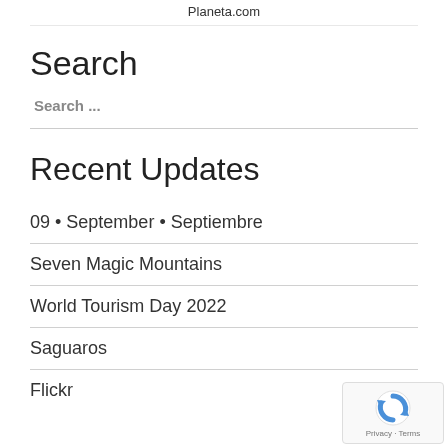Planeta.com
Search
Search ...
Recent Updates
09 • September • Septiembre
Seven Magic Mountains
World Tourism Day 2022
Saguaros
Flickr